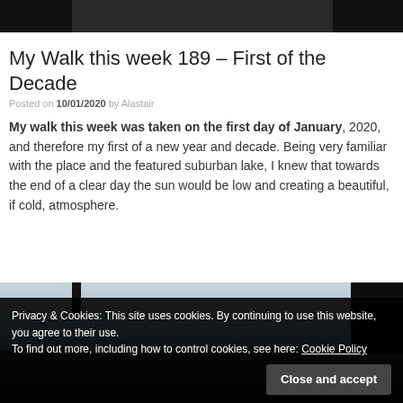[Figure (photo): Top portion of a dark landscape/nature photo, showing a dark sky and water scene cropped at the top of the page]
My Walk this week 189 – First of the Decade
Posted on 10/01/2020 by Alastair
My walk this week was taken on the first day of January, 2020, and therefore my first of a new year and decade. Being very familiar with the place and the featured suburban lake, I knew that towards the end of a clear day the sun would be low and creating a beautiful, if cold, atmosphere.
[Figure (photo): Landscape photo of a lake at sunset/dusk showing a pale sky with light colors, water reflection, and trees silhouetted on the right]
Privacy & Cookies: This site uses cookies. By continuing to use this website, you agree to their use.
To find out more, including how to control cookies, see here: Cookie Policy